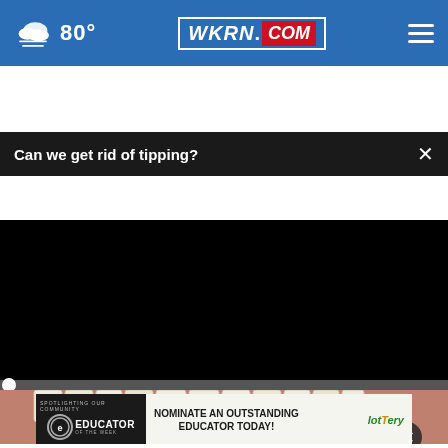80° WKRN.COM
Can we get rid of tipping?
[Figure (screenshot): Video player showing black screen, paused at 00:00, with play button, mute button, timestamp 00:00, captions button and fullscreen button in controls bar]
[Figure (photo): Close-up photo of human teeth/mouth, partially visible at bottom of video player region]
[Figure (other): Advertisement banner: SPOTLIGHTING OUR COMMUNITY - EDUCATOR OF THE WEEK. NOMINATE AN OUTSTANDING EDUCATOR TODAY! with Lottery logo]
Here is What Full Mouth Dental Implants Should...